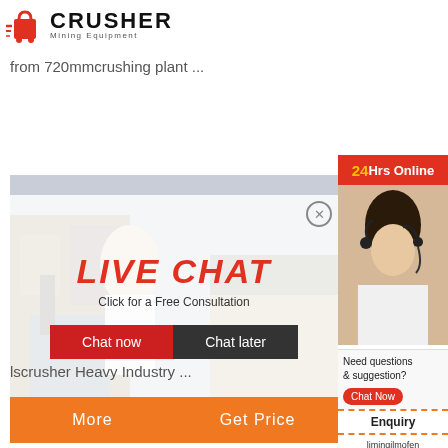[Figure (logo): Crusher Mining Equipment logo with shopping bag icon and bold CRUSHER text]
from 720mmcrushing plant ...
[Figure (infographic): Orange button bar with More and Get Price options, plus Email contact box]
[Figure (screenshot): Live chat overlay popup with workers in hard hats, LIVE CHAT title, Chat now and Chat later buttons, and 24Hrs Online badge]
[Figure (photo): Right sidebar with customer service agent wearing headset, Need questions & suggestion? text, Chat Now button, Enquiry section, and limingjlmofen@sina.com email]
lscrusher Heavy Industry ...
[Figure (infographic): Orange button bar with More and Get Price options, plus Email contact box (partially obscured)]